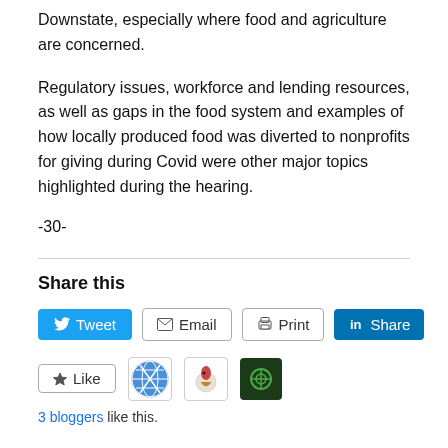Downstate, especially where food and agriculture are concerned.
Regulatory issues, workforce and lending resources, as well as gaps in the food system and examples of how locally produced food was diverted to nonprofits for giving during Covid were other major topics highlighted during the hearing.
-30-
Share this
[Figure (other): Social sharing buttons: Tweet (Twitter), Email, Print, LinkedIn Share]
[Figure (other): Like button and social icons (globe/X icon, rooster icon, dark green logo icon). Text: 3 bloggers like this.]